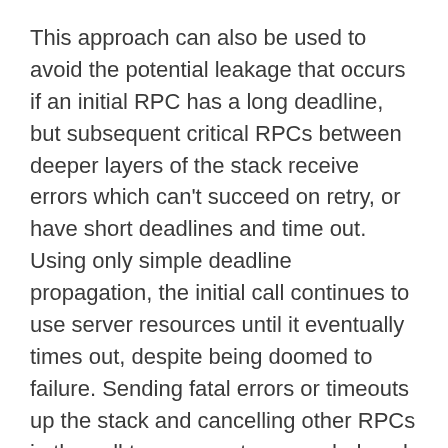This approach can also be used to avoid the potential leakage that occurs if an initial RPC has a long deadline, but subsequent critical RPCs between deeper layers of the stack receive errors which can't succeed on retry, or have short deadlines and time out. Using only simple deadline propagation, the initial call continues to use server resources until it eventually times out, despite being doomed to failure. Sending fatal errors or timeouts up the stack and cancelling other RPCs in the call tree prevents unneeded work if the request as a whole can't be fulfilled.
Bimodal latency
Suppose that the frontend from the preceding